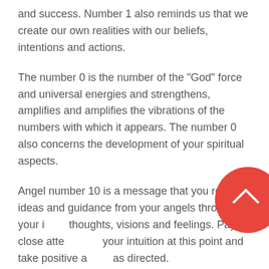and success. Number 1 also reminds us that we create our own realities with our beliefs, intentions and actions.
The number 0 is the number of the "God" force and universal energies and strengthens, amplifies and amplifies the vibrations of the numbers with which it appears. The number 0 also concerns the development of your spiritual aspects.
Angel number 10 is a message that you receive ideas and guidance from your angels through your thoughts, visions and feelings. Pay close attention to your intuition at this point and take positive action as directed.
Angel number 10 encourages you to move forward with your life with faith and confidence that you are on the right track in all respects.